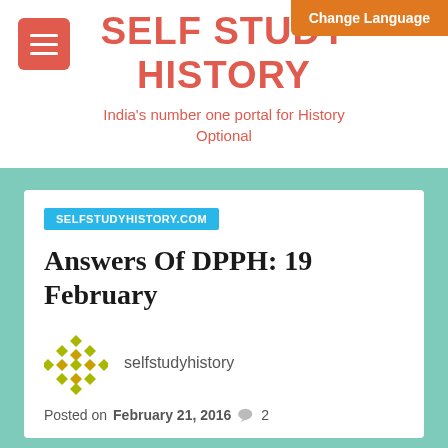SELF STUDY HISTORY
India's number one portal for History Optional
SELFSTUDYHISTORY.COM
Answers Of DPPH: 19 February
selfstudyhistory
Posted on February 21, 2016  2